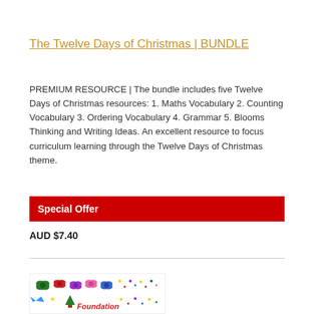The Twelve Days of Christmas | BUNDLE
PREMIUM RESOURCE | The bundle includes five Twelve Days of Christmas resources: 1. Maths Vocabulary 2. Counting Vocabulary 3. Ordering Vocabulary 4. Grammar 5. Blooms Thinking and Writing Ideas. An excellent resource to focus curriculum learning through the Twelve Days of Christmas theme.
Special Offer
AUD $7.40
[Figure (illustration): Thumbnail image showing colorful Christmas decorations and bows with the word 'Foundation' in red italic text]